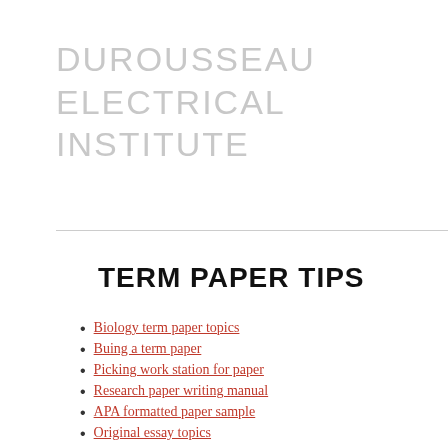DUROUSSEAU ELECTRICAL INSTITUTE
TERM PAPER TIPS
Biology term paper topics
Buing a term paper
Picking work station for paper
Research paper writing manual
APA formatted paper sample
Original essay topics
Make your paper topic catchy